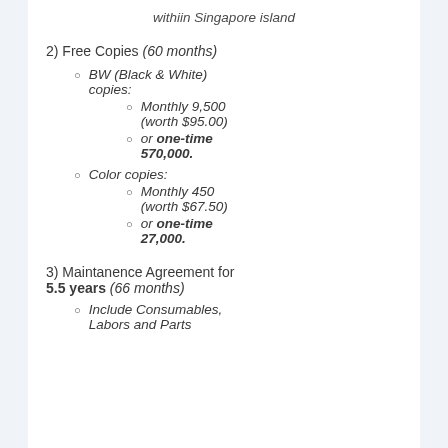withiin Singapore island
2) Free Copies (60 months)
BW (Black & White) copies:
Monthly 9,500 (worth $95.00)
or one-time 570,000.
Color copies:
Monthly 450 (worth $67.50)
or one-time 27,000.
3) Maintanence Agreement for 5.5 years (66 months)
Include Consumables, Labors and Parts